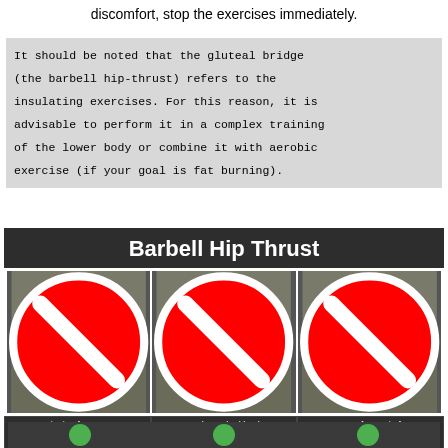discomfort, stop the exercises immediately.
It should be noted that the gluteal bridge (the barbell hip-thrust) refers to the insulating exercises. For this reason, it is advisable to perform it in a complex training of the lower body or combine it with aerobic exercise (if your goal is fat burning).
[Figure (photo): Infographic titled 'Barbell Hip Thrust' showing three side-by-side photos of a woman performing barbell hip thrust exercise incorrectly, each with a red 'no' symbol. Captions: 'Hinging from too high on back (due to high bench)', 'Neck cranked back Chest up Eye gaze upward', 'Feet too far out in front'. Below is a strip with green circles indicating correct form.]